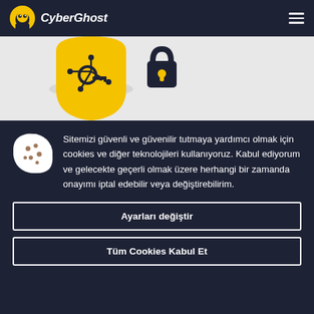CyberGhost
[Figure (illustration): CyberGhost VPN logo illustration with yellow shield and key on light gray background]
Sitemizi güvenli ve güvenilir tutmaya yardımcı olmak için cookies ve diğer teknolojileri kullanıyoruz. Kabul ediyorum ve gelecekte geçerli olmak üzere herhangi bir zamanda onayımı iptal edebilir veya değiştirebilirim.
Ayarları değiştir
Tüm Cookies Kabul Et